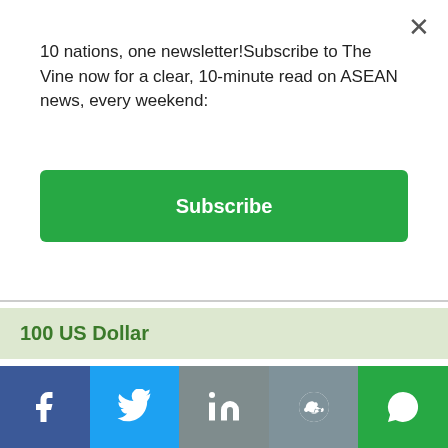10 nations, one newsletter!Subscribe to The Vine now for a clear, 10-minute read on ASEAN news, every weekend:
Subscribe
100 US Dollar
| Currency | Value |
| --- | --- |
| US Dollar | 100.0000 |
| British Pound Sterling | 87.1442 |
| Australian Dollar | 147.1809 |
| Chinese Yuan | 693.0800 |
| Japanese Yen | 14036.2943 |
| Russian Ruble | 6052.4998 |
[Figure (other): Social media sharing buttons: Facebook, Twitter, LinkedIn, Reddit, WhatsApp]